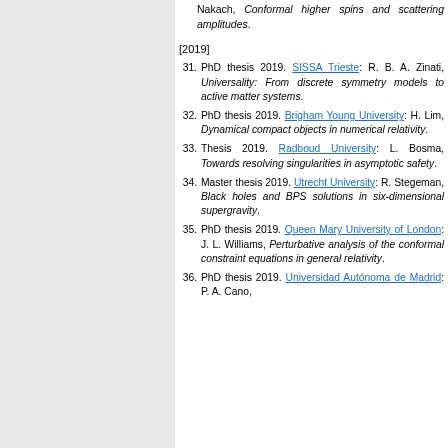Nakach, Conformal higher spins and scattering amplitudes.
[2019]
31. PhD thesis 2019. SISSA Trieste: R. B. A. Zinati, Universality: From discrete symmetry models to active matter systems.
32. PhD thesis 2019. Brigham Young University: H. Lim, Dynamical compact objects in numerical relativity.
33. Thesis 2019. Radboud University: L. Bosma, Towards resolving singularities in asymptotic safety.
34. Master thesis 2019. Utrecht University: R. Stegeman, Black holes and BPS solutions in six-dimensional supergravity.
35. PhD thesis 2019. Queen Mary University of London: J. L. Williams, Perturbative analysis of the conformal constraint equations in general relativity.
36. PhD thesis 2019. Universidad Autónoma de Madrid: P. A. Cano, Higher...